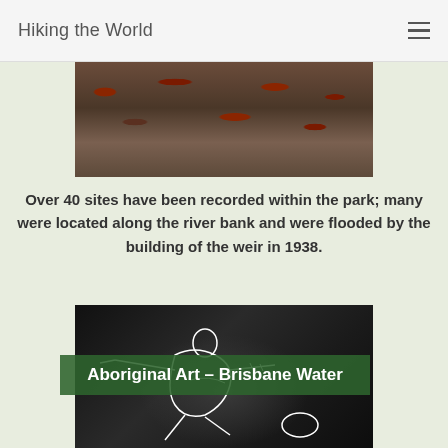Hiking the World
[Figure (photo): Top-down photo of dried leaves and organic debris on a wet stone or concrete surface]
Over 40 sites have been recorded within the park; many were located along the river bank and were flooded by the building of the weir in 1938.
[Figure (photo): Black and white photograph of Aboriginal rock art engravings at Brisbane Water, showing a human figure and other shapes carved into rock surface, with text overlay 'Aboriginal Art – Brisbane Water']